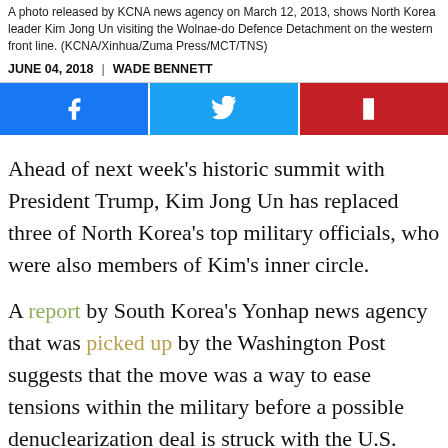A photo released by KCNA news agency on March 12, 2013, shows North Korea leader Kim Jong Un visiting the Wolnae-do Defence Detachment on the western front line. (KCNA/Xinhua/Zuma Press/MCT/TNS)
JUNE 04, 2018  |  WADE BENNETT
[Figure (other): Social share buttons: Facebook, Twitter, Flipboard]
Ahead of next week’s historic summit with President Trump, Kim Jong Un has replaced three of North Korea’s top military officials, who were also members of Kim’s inner circle.
A report by South Korea’s Yonhap news agency that was picked up by the Washington Post suggests that the move was a way to ease tensions within the military before a possible denuclearization deal is struck with the U.S.